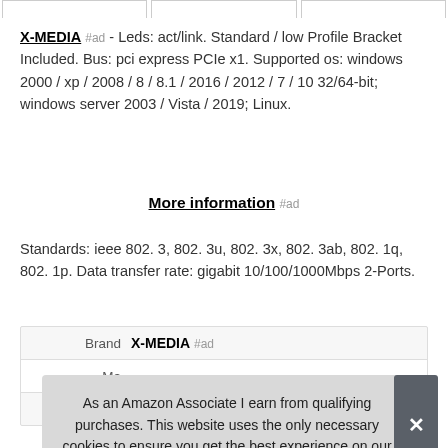X-MEDIA #ad - Leds: act/link. Standard / low Profile Bracket Included. Bus: pci express PCIe x1. Supported os: windows 2000 / xp / 2008 / 8 / 8.1 / 2016 / 2012 / 7 / 10 32/64-bit; windows server 2003 / Vista / 2019; Linux.
More information #ad
Standards: ieee 802. 3, 802. 3u, 802. 3x, 802. 3ab, 802. 1q, 802. 1p. Data transfer rate: gigabit 10/100/1000Mbps 2-Ports.
| Brand |  |
| --- | --- |
| Brand | X-MEDIA #ad |
| Ma |  |
As an Amazon Associate I earn from qualifying purchases. This website uses the only necessary cookies to ensure you get the best experience on our website. More information